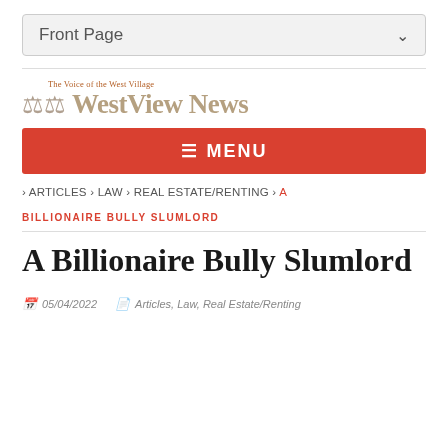Front Page
[Figure (logo): WestView News logo with scales of justice icon and tagline 'The Voice of the West Village']
MENU
› ARTICLES › LAW › REAL ESTATE/RENTING › A
BILLIONAIRE BULLY SLUMLORD
A Billionaire Bully Slumlord
05/04/2022   Articles, Law, Real Estate/Renting